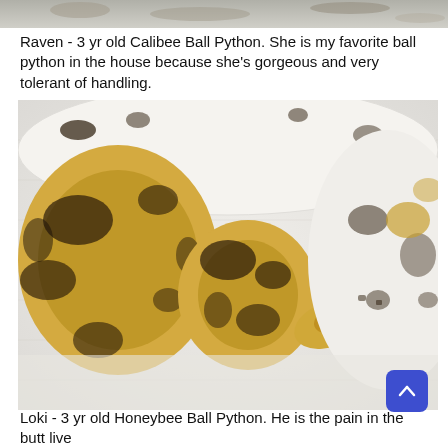[Figure (photo): Partial top edge of a photo showing a ball python snake on a light background, cropped at the very top of the page.]
Raven - 3 yr old Calibee Ball Python. She is my favorite ball python in the house because she's gorgeous and very tolerant of handling.
[Figure (photo): Close-up photo of Raven, a 3-year-old Calibee Ball Python, showing its yellow and dark brown/black patterned scales coiled on a white fabric surface. The snake's head is visible in the center-right of the frame.]
Loki - 3 yr old Honeybee Ball Python. He is the pain in the butt live